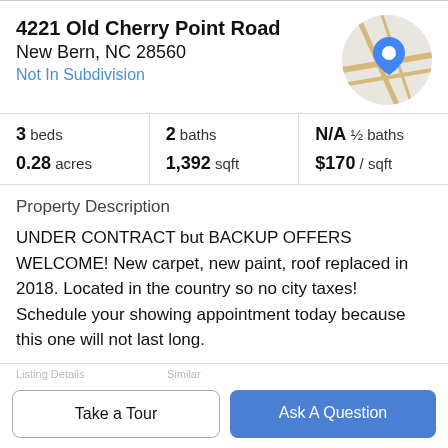4221 Old Cherry Point Road
New Bern, NC 28560
Not In Subdivision
[Figure (map): Circular map thumbnail with a blue location pin marker on road map background]
| beds | baths | ½ baths |
| --- | --- | --- |
| 3 | 2 | N/A |
| 0.28 acres | 1,392 sqft | $170 / sqft |
Property Description
UNDER CONTRACT but BACKUP OFFERS WELCOME! New carpet, new paint, roof replaced in 2018. Located in the country so no city taxes! Schedule your showing appointment today because this one will not last long.
Take a Tour
Ask A Question